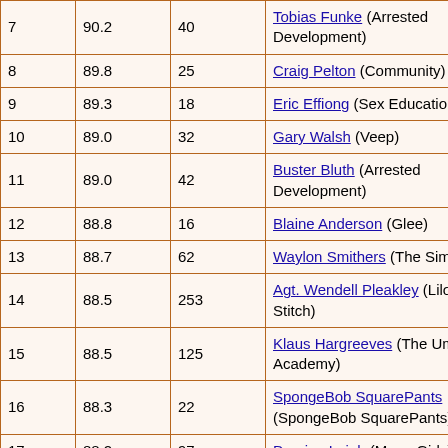| 7 | 90.2 | 40 | Tobias Funke (Arrested Development) |
| 8 | 89.8 | 25 | Craig Pelton (Community) |
| 9 | 89.3 | 18 | Eric Effiong (Sex Education) |
| 10 | 89.0 | 32 | Gary Walsh (Veep) |
| 11 | 89.0 | 42 | Buster Bluth (Arrested Development) |
| 12 | 88.8 | 16 | Blaine Anderson (Glee) |
| 13 | 88.7 | 62 | Waylon Smithers (The Simpsons) |
| 14 | 88.5 | 253 | Agt. Wendell Pleakley (Lilo & Stitch) |
| 15 | 88.5 | 125 | Klaus Hargreeves (The Umbrella Academy) |
| 16 | 88.3 | 22 | SpongeBob SquarePants (SpongeBob SquarePants) |
| 17 | 88.2 | 97 | Damian Leigh (Mean Girls) |